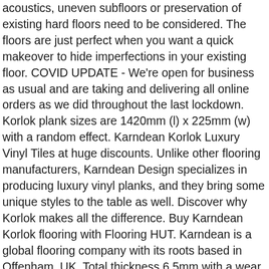acoustics, uneven subfloors or preservation of existing hard floors need to be considered. The floors are just perfect when you want a quick makeover to hide imperfections in your existing floor. COVID UPDATE - We're open for business as usual and are taking and delivering all online orders as we did throughout the last lockdown. Korlok plank sizes are 1420mm (l) x 225mm (w) with a random effect. Karndean Korlok Luxury Vinyl Tiles at huge discounts. Unlike other flooring manufacturers, Karndean Design specializes in producing luxury vinyl planks, and they bring some unique styles to the table as well. Discover why Korlok makes all the difference. Buy Karndean Korlok flooring with Flooring HUT. Karndean is a global flooring company with its roots based in Offenham, UK. Total thickness 6.5mm with a wear layer of 0.55mm. Previously Lifestyle Flooring UK. Karndean offer a wide selection of finishes and hues, as well as prices to fit any budget. Korlok is suitable for use with underfloor heating. Choose your Korlok Flooring Below 2. Installing the floor is super quick and easy with the unique 5G vertical click-lock mechanism. Karndean Korlok Flooring. Korlok does not have a collection of colours. Buy...